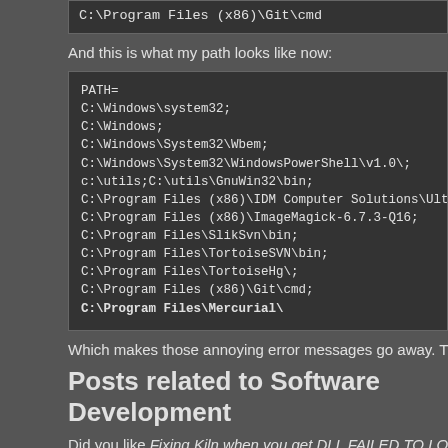C:\Program Files (x86)\Git\cmd
And this is what my path looks like now:
PATH=
C:\Windows\system32;
C:\Windows;
C:\Windows\System32\Wbem;
C:\Windows\System32\WindowsPowerShell\v1.0\
c:\utils;C:\utils\GnuWin32\bin;
C:\Program Files (x86)\IDM Computer Solutions\Ultra
C:\Program Files (x86)\ImageMagick-6.7.3-Q16;
C:\Program Files\SlikSvn\bin;
C:\Program Files\TortoiseSVN\bin;
C:\Program Files\TortoiseHg\;
C:\Program Files (x86)\Git\cmd;
C:\Program Files\Mercurial\
Which makes those annoying error messages go away. The fastest and
Posts related to Software Development
Did you like Fixing Kiln when you get DLL FAILED TO LOAD? Then the
WordPress And EasyPHP on Windows 7